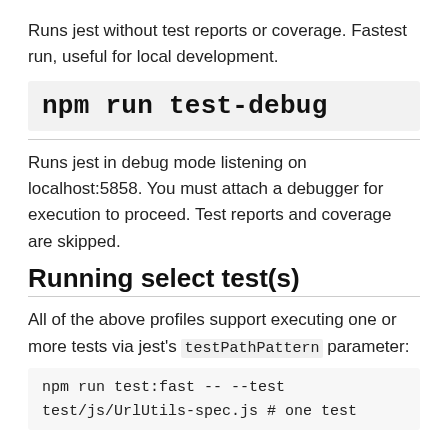Runs jest without test reports or coverage. Fastest run, useful for local development.
npm run test-debug
Runs jest in debug mode listening on localhost:5858. You must attach a debugger for execution to proceed. Test reports and coverage are skipped.
Running select test(s)
All of the above profiles support executing one or more tests via jest's testPathPattern parameter:
npm run test:fast -- --test
test/js/UrlUtils-spec.js # one test